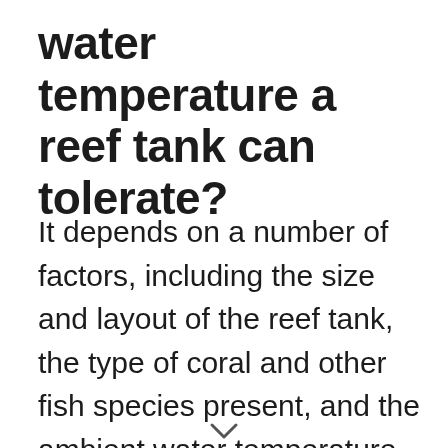water temperature a reef tank can tolerate?
It depends on a number of factors, including the size and layout of the reef tank, the type of coral and other fish species present, and the ambient water temperature. However, most reef tank enthusiasts agree that a water temperature of around 75 degrees Fahrenheit (24 degrees Celsius) is